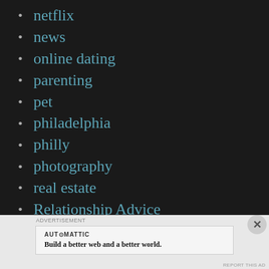netflix
news
online dating
parenting
pet
philadelphia
philly
photography
real estate
Relationship Advice
relationships
romance
s&m
ADVERTISEMENT
AUT⊙MATTIC
Build a better web and a better world.